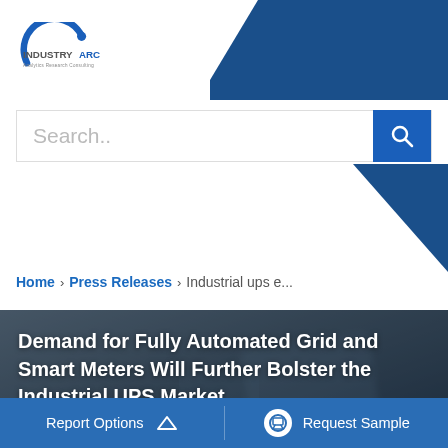[Figure (logo): IndustryARC logo — arc graphic with 'INDUSTRYARC' text and tagline 'Analytics Research Consulting']
[Figure (screenshot): Search bar with placeholder text 'Search..' and blue search button with magnifier icon]
Home > Press Releases > Industrial ups e...
[Figure (photo): Blurred dark background photo (appears to show a hand holding a device), used as article banner background]
Demand for Fully Automated Grid and Smart Meters Will Further Bolster the Industrial UPS Market
Published On : 10-Jul-2021
Report Options   ^   Request Sample